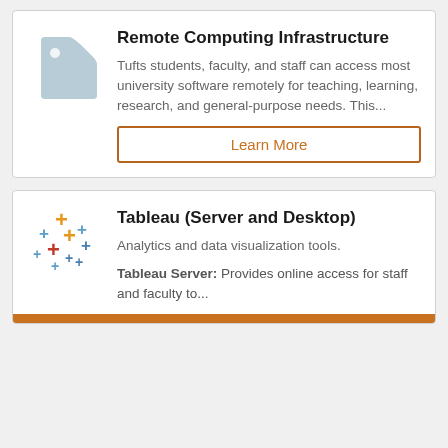[Figure (illustration): Grey price tag icon]
Remote Computing Infrastructure
Tufts students, faculty, and staff can access most university software remotely for teaching, learning, research, and general-purpose needs. This...
Learn More
[Figure (logo): Tableau colorful plus-sign cross logo]
Tableau (Server and Desktop)
Analytics and data visualization tools.
Tableau Server: Provides online access for staff and faculty to...